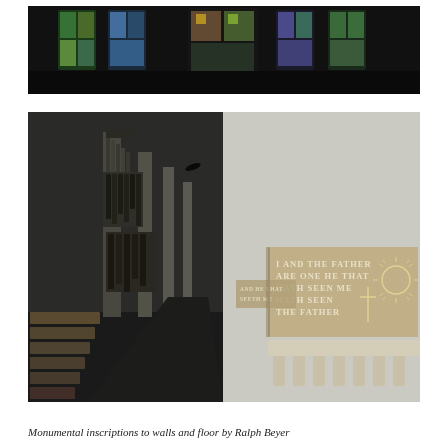[Figure (photo): Interior view of a church ceiling and stained glass windows, dark atmospheric photo showing colorful stained glass with geometric patterns against a dark ceiling]
[Figure (photo): Interior of Coventry Cathedral showing the nave with organ pipes on the left, pews, and large stone wall inscriptions by Ralph Beyer. The foreground shows a rectangular stone slab with white inscribed text reading 'I AND THE FATHER ARE ONE HE THAT HATH SEEN ME HATH SEEN THE FATHER' with a sun symbol. Another inscription panel is visible further down the aisle.]
Monumental inscriptions to walls and floor by Ralph Beyer